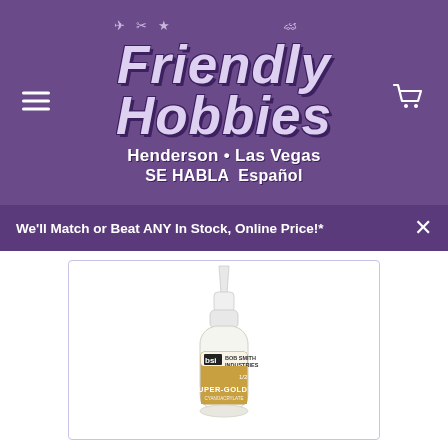[Figure (logo): Friendly Hobbies logo with Henderson • Las Vegas and SE HABLA Español text on purple background]
We'll Match or Beat ANY In Stock, Online Price!*
[Figure (photo): BSI Bob Smith Industries Super-Gold cyanoacrylate glue bottle, 1/2 oz, with white dropper tip nozzle]